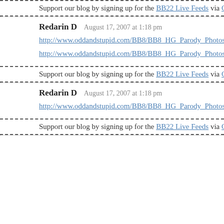Support our blog by signing up for the BB22 Live Feeds via CBS All Acc…
Redarin D   August 17, 2007 at 1:18 pm
http://www.oddandstupid.com/BB8/BB8_HG_Parody_Photos/mike.gif
http://www.oddandstupid.com/BB8/BB8_HG_Parody_Photos/collagelm3…
Support our blog by signing up for the BB22 Live Feeds via CBS All Acc…
Redarin D   August 17, 2007 at 1:18 pm
http://www.oddandstupid.com/BB8/BB8_HG_Parody_Photos/zachogrefs0…
Support our blog by signing up for the BB22 Live Feeds via CBS All Acc…